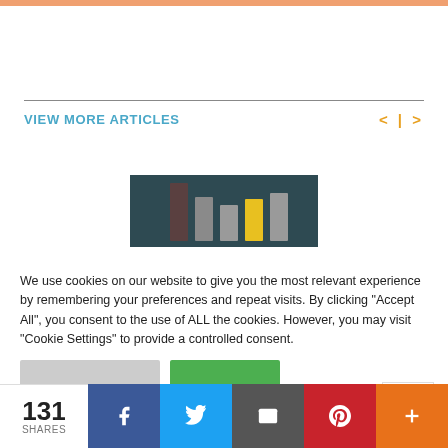VIEW MORE ARTICLES
[Figure (bar-chart): Bar chart thumbnail showing several vertical bars of varying heights on a dark teal background, with one bar highlighted in yellow]
We use cookies on our website to give you the most relevant experience by remembering your preferences and repeat visits. By clicking "Accept All", you consent to the use of ALL the cookies. However, you may visit "Cookie Settings" to provide a controlled consent.
131 SHARES